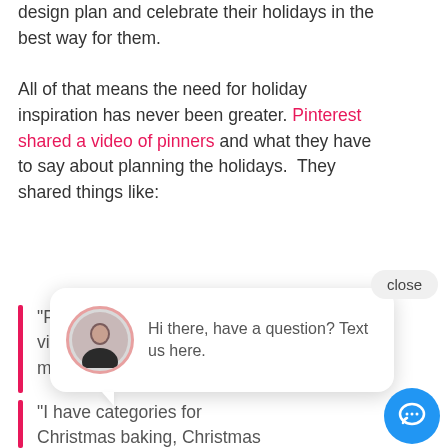design plan and celebrate their holidays in the best way for them.
All of that means the need for holiday inspiration has never been greater. Pinterest shared a video of pinners and what they have to say about planning the holidays. They shared things like:
[Figure (screenshot): Chat popup overlay with avatar photo and message: 'Hi there, have a question? Text us here.' with close button and blue chat icon button]
“Pin[...] visu[...] my[...]
“I have categories for Christmas baking, Christmas dinner ideas, Christmas [...]